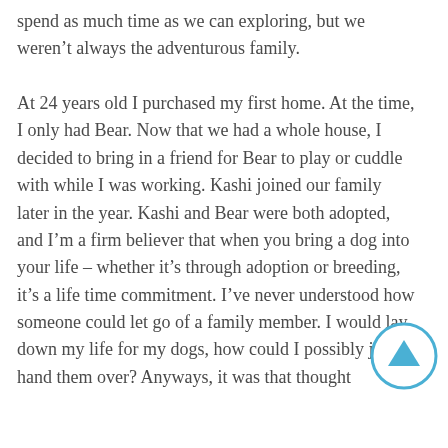spend as much time as we can exploring, but we weren't always the adventurous family.

At 24 years old I purchased my first home. At the time, I only had Bear. Now that we had a whole house, I decided to bring in a friend for Bear to play or cuddle with while I was working. Kashi joined our family later in the year. Kashi and Bear were both adopted, and I'm a firm believer that when you bring a dog into your life – whether it's through adoption or breeding, it's a life time commitment. I've never understood how someone could let go of a family member. I would lay down my life for my dogs, how could I possibly just hand them over? Anyways, it was that thought